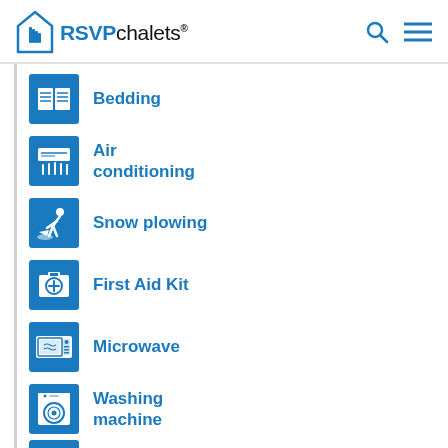RSVPchalets
Bedding
Air conditioning
Snow plowing
First Aid Kit
Microwave
Washing machine
Clothes dryer